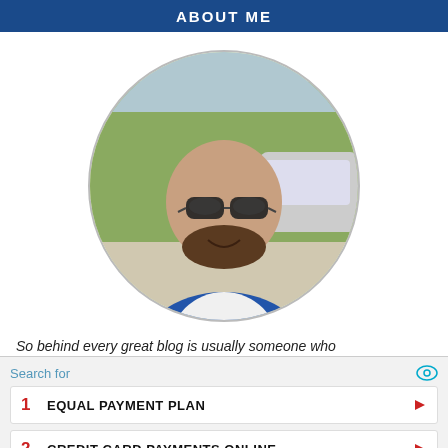ABOUT ME
[Figure (photo): Circular profile photo of a bald man with a beard wearing sunglasses and a blue jacket over a white t-shirt, outdoors with trees and a car in background.]
So behind every great blog is usually someone who
Search for
1  EQUAL PAYMENT PLAN
2  CREDIT CARD PAYMENTS ONLINE